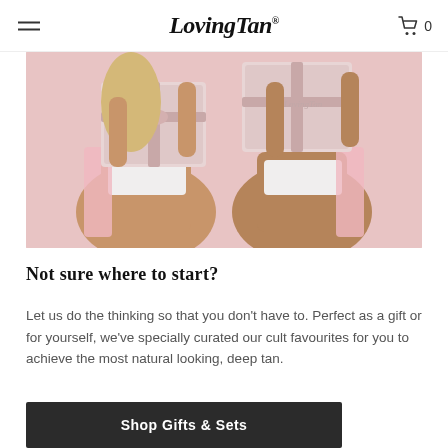Loving Tan — navigation header with hamburger menu and cart icon
[Figure (photo): Two women holding pink gift boxes in front of their faces, wearing white crop tops and pink satin robes, against a pink background]
Not sure where to start?
Let us do the thinking so that you don't have to. Perfect as a gift or for yourself, we've specially curated our cult favourites for you to achieve the most natural looking, deep tan.
Shop Gifts & Sets